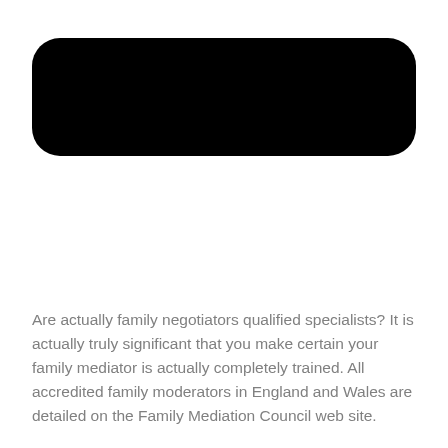[Figure (other): Black rounded rectangle, likely a redacted/blacked-out header or image area]
Are actually family negotiators qualified specialists? It is actually truly significant that you make certain your family mediator is actually completely trained. All accredited family moderators in England and Wales are detailed on the Family Mediation Council web site.